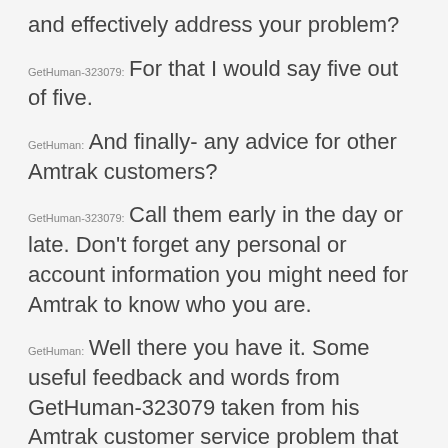and effectively address your problem?
GetHuman-323079: For that I would say five out of five.
GetHuman: And finally- any advice for other Amtrak customers?
GetHuman-323079: Call them early in the day or late. Don't forget any personal or account information you might need for Amtrak to know who you are.
GetHuman: Well there you have it. Some useful feedback and words from GetHuman-323079 taken from his Amtrak customer service problem that occurred on November 5th, 2017.
Amtrak
[Figure (other): 4 out of 5 star rating shown as filled and empty gold stars]